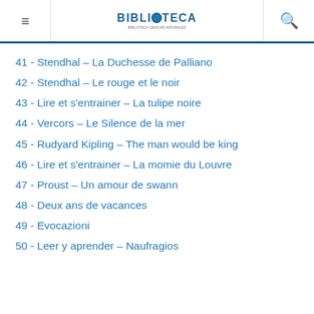BIBLIOTECA
41 - Stendhal – La Duchesse de Palliano
42 - Stendhal – Le rouge et le noir
43 - Lire et s'entrainer – La tulipe noire
44 - Vercors – Le Silence de la mer
45 - Rudyard Kipling – The man would be king
46 - Lire et s'entrainer – La momie du Louvre
47 - Proust – Un amour de swann
48 - Deux ans de vacances
49 - Evocazioni
50 - Leer y aprender – Naufragios